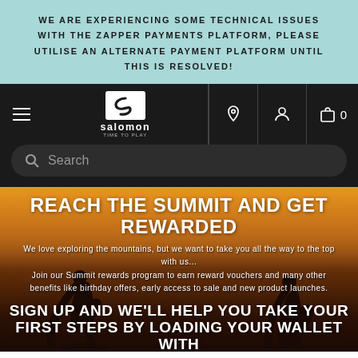WE ARE EXPERIENCING SOME TECHNICAL ISSUES WITH THE ZAPPER PAYMENTS PLATFORM, PLEASE UTILISE AN ALTERNATE PAYMENT PLATFORM UNTIL THIS IS RESOLVED!
[Figure (screenshot): Salomon 'Time to Play' navigation bar with hamburger menu, logo, location pin icon, user icon, and shopping bag icon with 0 items]
[Figure (screenshot): Search bar with magnifying glass icon and placeholder text 'Search' on dark background]
REACH THE SUMMIT AND GET REWARDED
We love exploring the mountains, but we want to take you all the way to the top with us... Join our Summit rewards program to earn reward vouchers and many other benefits like birthday offers, early access to sale and new product launches.
SIGN UP AND WE'LL HELP YOU TAKE YOUR FIRST STEPS BY LOADING YOUR WALLET WITH